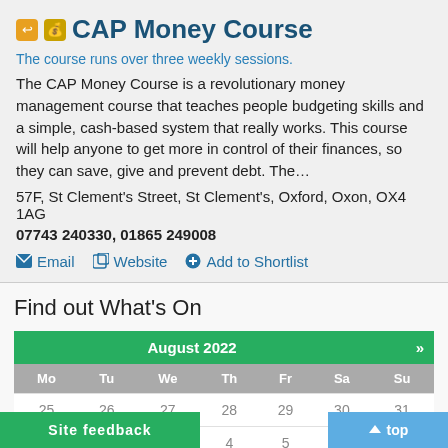CAP Money Course
The course runs over three weekly sessions.
The CAP Money Course is a revolutionary money management course that teaches people budgeting skills and a simple, cash-based system that really works. This course will help anyone to get more in control of their finances, so they can save, give and prevent debt. The…
57F, St Clement's Street, St Clement's, Oxford, Oxon, OX4 1AG
07743 240330, 01865 249008
Email  Website  Add to Shortlist
Find out What's On
| Mo | Tu | We | Th | Fr | Sa | Su |
| --- | --- | --- | --- | --- | --- | --- |
| 25 | 26 | 27 | 28 | 29 | 30 | 31 |
| 1 | 2 | 3 | 4 | 5 | 6 | 7 |
| 8 | 9 | 10 | 11 | 12 | 13 |  |
Site feedback
top